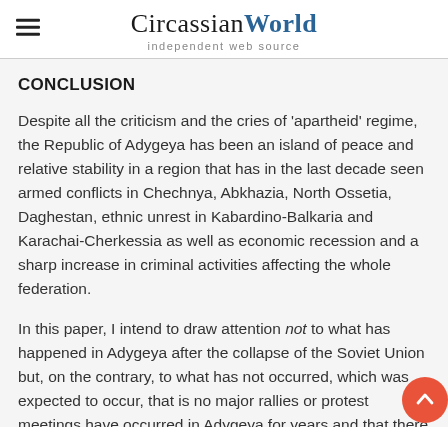CircassianWorld — independent web source
CONCLUSION
Despite all the criticism and the cries of 'apartheid' regime, the Republic of Adygeya has been an island of peace and relative stability in a region that has in the last decade seen armed conflicts in Chechnya, Abkhazia, North Ossetia, Daghestan, ethnic unrest in Kabardino-Balkaria and Karachai-Cherkessia as well as economic recession and a sharp increase in criminal activities affecting the whole federation.
In this paper, I intend to draw attention not to what has happened in Adygeya after the collapse of the Soviet Union but, on the contrary, to what has not occurred, which was expected to occur, that is no major rallies or protest meetings have occurred in Adygeya for years and that there